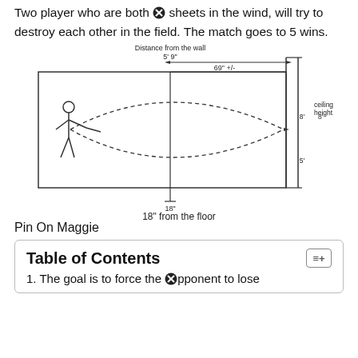Two player who are both sheets in the wind, will try to destroy each other in the field. The match goes to 5 wins.
[Figure (engineering-diagram): Engineering diagram showing a side-view of a playing field. A stick figure on the left throws a ball that follows a dashed arc path to a point on the right wall. The diagram shows: Distance from the wall 5'9" / 69"+/-, ceiling height 8', height markings of 8' and 5', and 18" from the floor.]
Pin On Maggie
Table of Contents
1. The goal is to force the opponent to lose